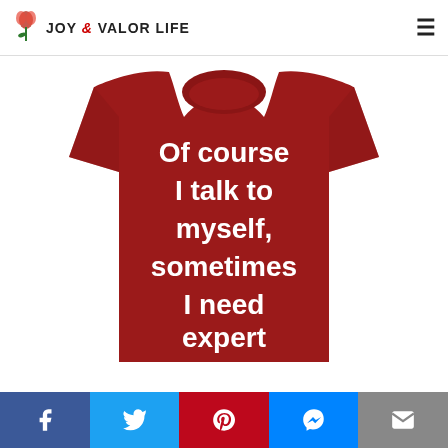JOY & VALOR LIFE
[Figure (photo): Red t-shirt with white bold text reading: 'Of course I talk to myself, sometimes I need expert advice.']
Social share bar with Facebook, Twitter, Pinterest, Messenger, Email buttons